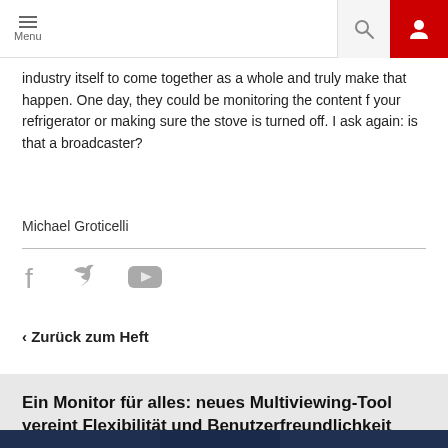Menu | Search | User
industry itself to come together as a whole and truly make that happen. One day, they could be monitoring the content f your refrigerator or making sure the stove is turned off. I ask again: is that a broadcaster?
Michael Groticelli
[Figure (infographic): Social media icons: Facebook, Twitter, YouTube]
‹ Zurück zum Heft
Ein Monitor für alles: neues Multiviewing-Tool vereint Flexibilität und Benutzerfreundlichkeit
[Figure (photo): Dark photo showing a person in front of monitors/screens]